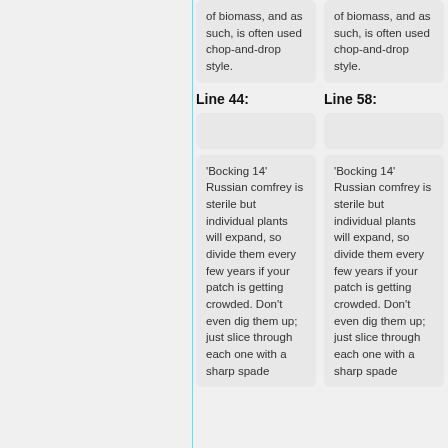of biomass, and as such, is often used chop-and-drop style.
of biomass, and as such, is often used chop-and-drop style.
Line 44:
Line 58:
'Bocking 14' Russian comfrey is sterile but individual plants will expand, so divide them every few years if your patch is getting crowded. Don't even dig them up; just slice through each one with a sharp spade
'Bocking 14' Russian comfrey is sterile but individual plants will expand, so divide them every few years if your patch is getting crowded. Don't even dig them up; just slice through each one with a sharp spade